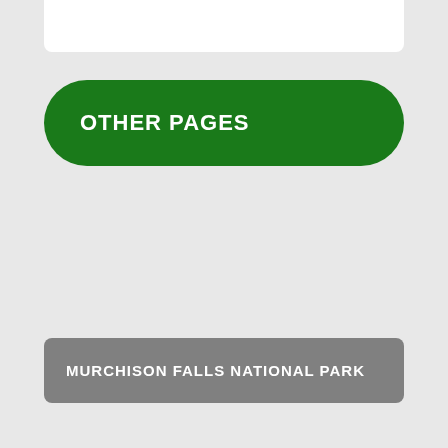OTHER PAGES
MURCHISON FALLS NATIONAL PARK